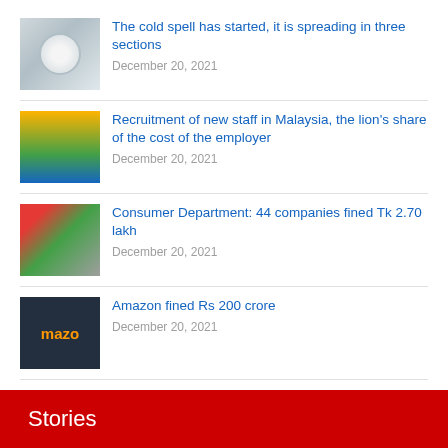The cold spell has started, it is spreading in three sections
December 20, 2021
Recruitment of new staff in Malaysia, the lion's share of the cost of the employer
December 20, 2021
Consumer Department: 44 companies fined Tk 2.70 lakh
December 20, 2021
Amazon fined Rs 200 crore
December 20, 2021
Letters to refund customers of e-commerce companies without lawsuits
December 20, 2021
Stories